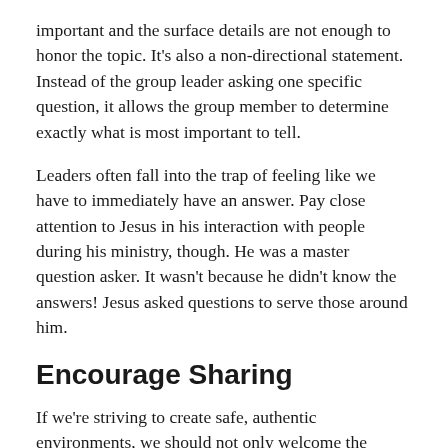important and the surface details are not enough to honor the topic. It's also a non-directional statement. Instead of the group leader asking one specific question, it allows the group member to determine exactly what is most important to tell.
Leaders often fall into the trap of feeling like we have to immediately have an answer. Pay close attention to Jesus in his interaction with people during his ministry, though. He was a master question asker. It wasn't because he didn't know the answers! Jesus asked questions to serve those around him.
Encourage Sharing
If we're striving to create safe, authentic environments, we should not only welcome the presence of emotion but also encourage it. Encouraging someone after they've shared deeply does two things. First, it affirms the person who has taken the risk. That person realizes that they're okay just as they are. They get to experience God's grace through you as a leader. Second, it tells the group around them that it's safe for others